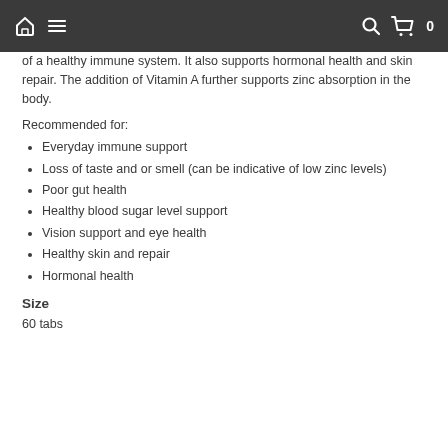Home menu search cart 0
of a healthy immune system. It also supports hormonal health and skin repair. The addition of Vitamin A further supports zinc absorption in the body.
Recommended for:
Everyday immune support
Loss of taste and or smell (can be indicative of low zinc levels)
Poor gut health
Healthy blood sugar level support
Vision support and eye health
Healthy skin and repair
Hormonal health
Size
60 tabs